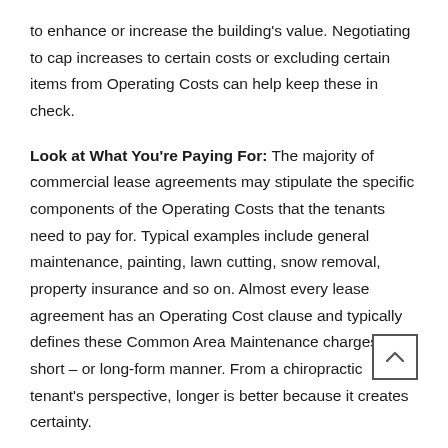to enhance or increase the building's value. Negotiating to cap increases to certain costs or excluding certain items from Operating Costs can help keep these in check.
Look at What You're Paying For: The majority of commercial lease agreements may stipulate the specific components of the Operating Costs that the tenants need to pay for. Typical examples include general maintenance, painting, lawn cutting, snow removal, property insurance and so on. Almost every lease agreement has an Operating Cost clause and typically defines these Common Area Maintenance charges in a short – or long-form manner. From a chiropractic tenant's perspective, longer is better because it creates certainty.
Understand why Proportionate Share Counts: If a